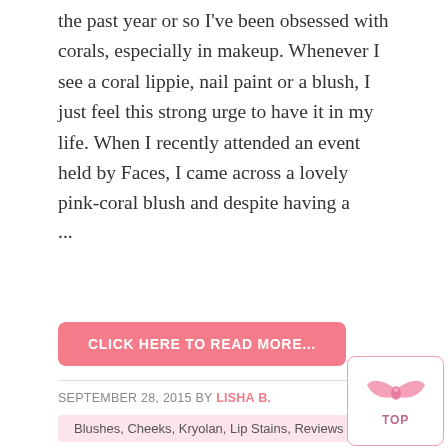the past year or so I've been obsessed with corals, especially in makeup. Whenever I see a coral lippie, nail paint or a blush, I just feel this strong urge to have it in my life. When I recently attended an event held by Faces, I came across a lovely pink-coral blush and despite having a
...
CLICK HERE TO READ MORE...
SEPTEMBER 28, 2015 BY LISHA B.
Blushes, Cheeks, Kryolan, Lip Stains, Reviews
Kryolan Lip N Cheek Poppy Review, Swatches, Price & Buy India